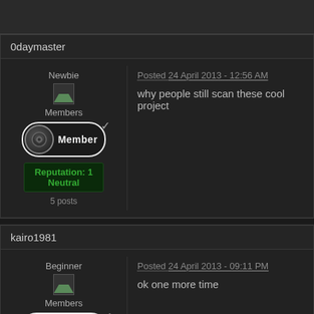0daymaster
Newbie
Members
Member
Reputation: 1
Neutral
5 posts
Posted 24 April 2013 - 12:56 AM
why people still scan these cool project
kairo1981
Beginner
Members
Posted 24 April 2013 - 09:11 PM
ok one more time